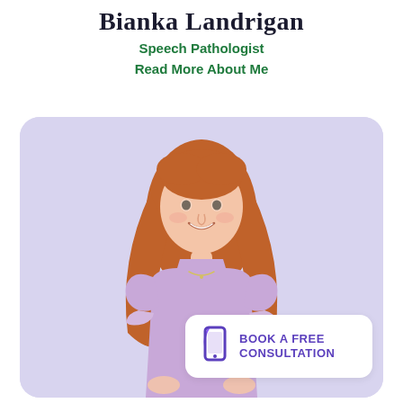Bianka Landrigan
Speech Pathologist
Read More About Me
[Figure (photo): A young woman with long red hair, smiling, wearing a lavender top, against a light purple background, with a 'Book a Free Consultation' button overlay in the lower right corner.]